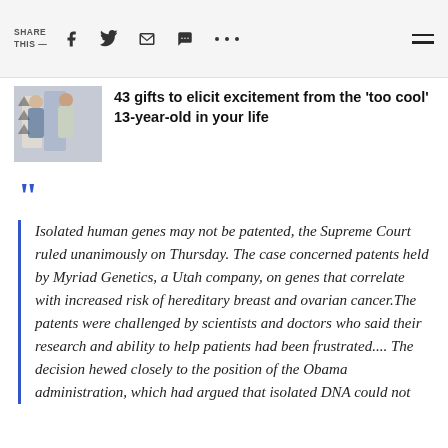SHARE THIS —  [social icons]
[Figure (photo): A photo showing two people in a room with clothing/fashion items]
43 gifts to elicit excitement from the 'too cool' 13-year-old in your life
Isolated human genes may not be patented, the Supreme Court ruled unanimously on Thursday. The case concerned patents held by Myriad Genetics, a Utah company, on genes that correlate with increased risk of hereditary breast and ovarian cancer.The patents were challenged by scientists and doctors who said their research and ability to help patients had been frustrated.... The decision hewed closely to the position of the Obama administration, which had argued that isolated DNA could not